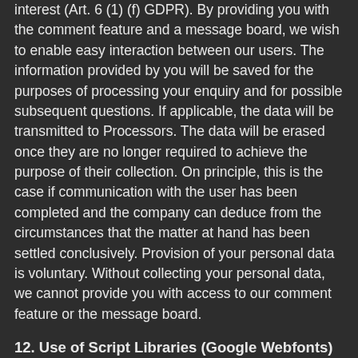interest (Art. 6 (1) (f) GDPR). By providing you with the comment feature and a message board, we wish to enable easy interaction between our users. The information provided by you will be saved for the purposes of processing your enquiry and for possible subsequent questions. If applicable, the data will be transmitted to Processors. The data will be erased once they are no longer required to achieve the purpose of their collection. On principle, this is the case if communication with the user has been completed and the company can deduce from the circumstances that the matter at hand has been settled conclusively. Provision of your personal data is voluntary. Without collecting your personal data, we cannot provide you with access to our comment feature or the message board.
12. Use of Script Libraries (Google Webfonts)
To ensure correct and visually pleasing display of our content in all browsers, we use “Google Webfonts” by Google LLC (1600 Amphitheatre Parkway, Mountain View, CA 94043, USA; hereinafter referred to as “Google”) on our website to represent fonts.